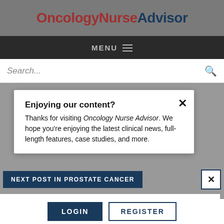OncologyNurseAdvisor
MENU
Search...
Enjoying our content?
Thanks for visiting Oncology Nurse Advisor. We hope you’re enjoying the latest clinical news, full-length features, case studies, and more.
NEXT POST IN PROSTATE CANCER
Surgery Improves Survival After Radiotherapy Failure in Men With Prostate Cancer
LOGIN  REGISTER